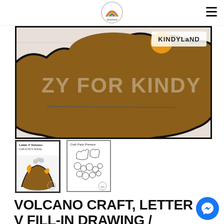Kindyland logo and navigation
[Figure (photo): Close-up of a volcano craft showing a brown lava/base shape with text 'ZY FOR KINDY' watermark and 'KINDYLAND' branding in top right, on a white wood background]
[Figure (photo): Thumbnail 1: Letter V Volcano Craft & Fill In Activity cover showing illustrated volcano with orange lava]
[Figure (photo): Thumbnail 2: Craft Pack Preview showing cut-out template pieces on white background]
VOLCANO CRAFT, LETTER V FILL-IN DRAWING / WRITING ACTIVITY FOR